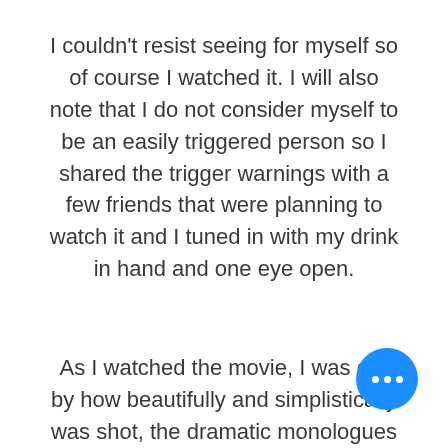I couldn't resist seeing for myself so of course I watched it. I will also note that I do not consider myself to be an easily triggered person so I shared the trigger warnings with a few friends that were planning to watch it and I tuned in with my drink in hand and one eye open.
As I watched the movie, I was dra... by how beautifully and simplistically... was shot, the dramatic monologues...